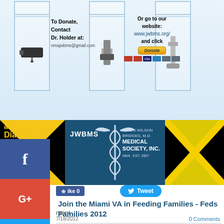[Figure (infographic): Donation banner for JWBMS with medical equipment images, contact info for Dr. Holder at nmajwbms@gmail.com, website www.jwbms.org, donate button, and credit card icons]
[Figure (logo): Jamaican Diaspora logo with blue and yellow text on flag-colored background]
[Figure (logo): JWBMS James Wilson Bridges M.D. Medical Society Inc. NMA EST. 2007 logo on blue background with caduceus symbol]
[Figure (photo): Jamaican flag with black, yellow and green colors]
[Figure (screenshot): Social media sidebar with Facebook, Google+, Twitter, Pinterest, Blogger, YouTube icons]
ike 0
Tweet
ment
Join the Miami VA in Feeding Families - Feds Families 2012
7/18/2012
0 Comments